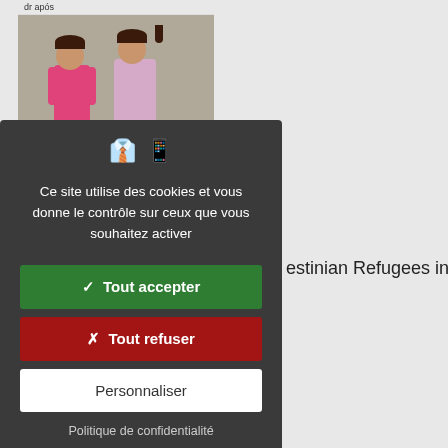[Figure (photo): Two young children standing with backs to camera against a grey wall, one in pink outfit, one in pink/purple patterned dress. Partial card header text 'dr após' visible at top.]
estinian Refugees in
Ce site utilise des cookies et vous donne le contrôle sur ceux que vous souhaitez activer
✓  Tout accepter
✗  Tout refuser
Personnaliser
Politique de confidentialité